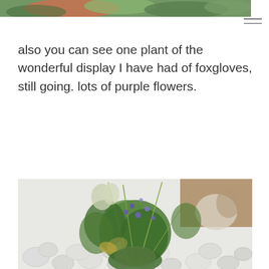[Figure (photo): Top portion of a garden photo showing plants and what appears to be a terracotta pot, cropped at the top of the page.]
also you can see one plant of the wonderful display I have had of foxgloves, still going. lots of purple flowers.
[Figure (photo): Photo of a wild flower arrangement with purple flowers, grass stalks, green leafy plants, set against a white cobblestone/pebble wall background. A painting or artwork is partially visible in the upper right.]